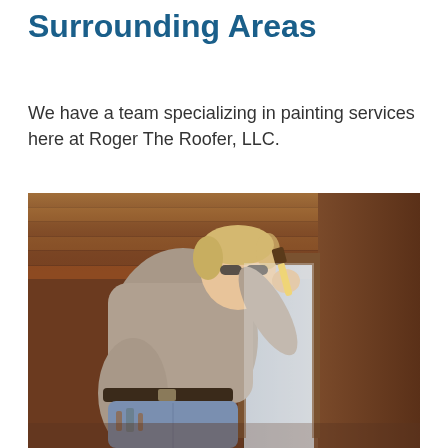Surrounding Areas
We have a team specializing in painting services here at Roger The Roofer, LLC.
[Figure (photo): A man with blonde hair wearing a grey t-shirt and blue jeans is painting wooden trim near a window using a paintbrush, working on the exterior of a house with a wood-paneled ceiling above.]